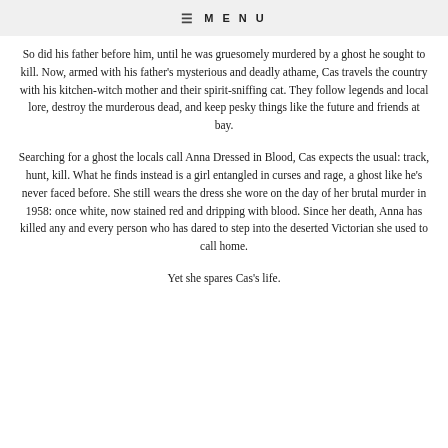☰ MENU
So did his father before him, until he was gruesomely murdered by a ghost he sought to kill. Now, armed with his father's mysterious and deadly athame, Cas travels the country with his kitchen-witch mother and their spirit-sniffing cat. They follow legends and local lore, destroy the murderous dead, and keep pesky things like the future and friends at bay.
Searching for a ghost the locals call Anna Dressed in Blood, Cas expects the usual: track, hunt, kill. What he finds instead is a girl entangled in curses and rage, a ghost like he's never faced before. She still wears the dress she wore on the day of her brutal murder in 1958: once white, now stained red and dripping with blood. Since her death, Anna has killed any and every person who has dared to step into the deserted Victorian she used to call home.
Yet she spares Cas's life.